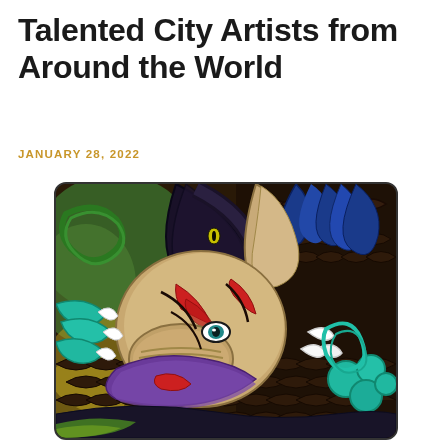Talented City Artists from Around the World
JANUARY 28, 2022
[Figure (illustration): Close-up painting of a dragon's face and body in vivid colors — tan/beige skin with red markings, blue eyes, teal claws and swirling accents, blue feathers/spines, purple fur around neck, dark navy/black body with scale patterns, green and yellow accents in background, intricate decorative style reminiscent of Japanese or Chinese dragon art.]